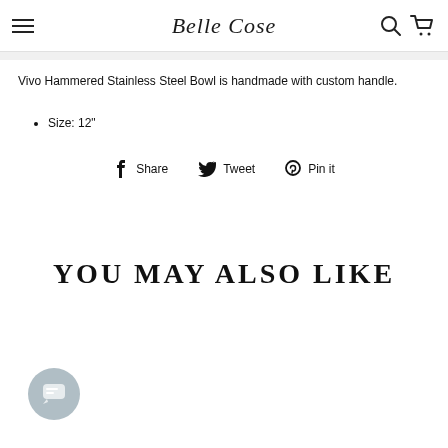Belle Cose
Vivo Hammered Stainless Steel Bowl is handmade with custom handle.
Size: 12"
Share  Tweet  Pin it
YOU MAY ALSO LIKE